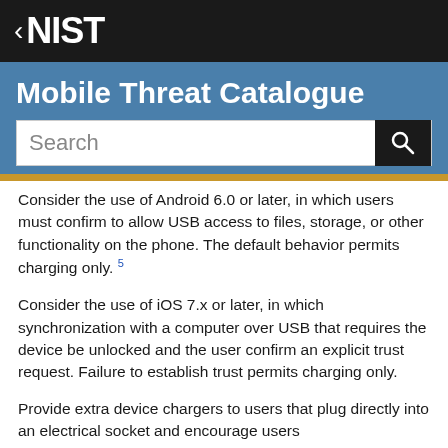« NIST
Mobile Threat Catalogue
Consider the use of Android 6.0 or later, in which users must confirm to allow USB access to files, storage, or other functionality on the phone. The default behavior permits charging only. 5
Consider the use of iOS 7.x or later, in which synchronization with a computer over USB that requires the device be unlocked and the user confirm an explicit trust request. Failure to establish trust permits charging only.
Provide extra device chargers to users that plug directly into an electrical socket and encourage users